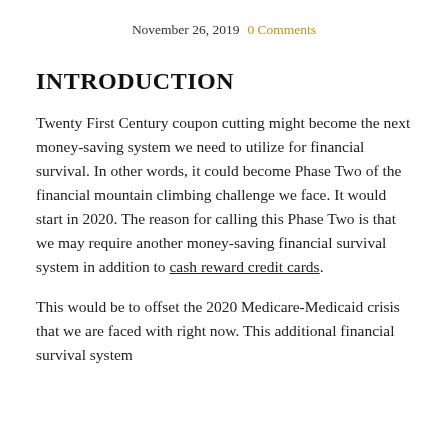November 26, 2019   0 Comments
INTRODUCTION
Twenty First Century coupon cutting might become the next money-saving system we need to utilize for financial survival. In other words, it could become Phase Two of the financial mountain climbing challenge we face. It would start in 2020. The reason for calling this Phase Two is that we may require another money-saving financial survival system in addition to cash reward credit cards.
This would be to offset the 2020 Medicare-Medicaid crisis that we are faced with right now. This additional financial survival system